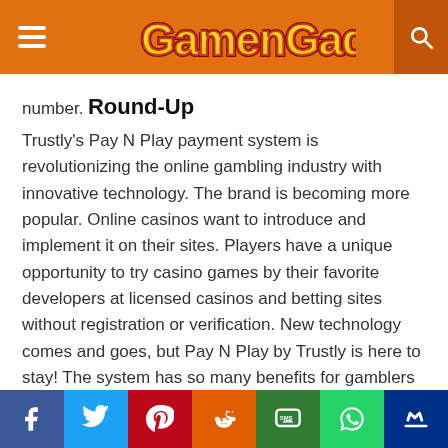GamenGadgets
number.
Round-Up
Trustly's Pay N Play payment system is revolutionizing the online gambling industry with innovative technology. The brand is becoming more popular. Online casinos want to introduce and implement it on their sites. Players have a unique opportunity to try casino games by their favorite developers at licensed casinos and betting sites without registration or verification. New technology comes and goes, but Pay N Play by Trustly is here to stay! The system has so many benefits for gamblers and gaming companies, and it is only a matter of time before more operators
Social share bar: Facebook, Twitter, Pinterest, Reddit, SMS, WhatsApp, Messenger